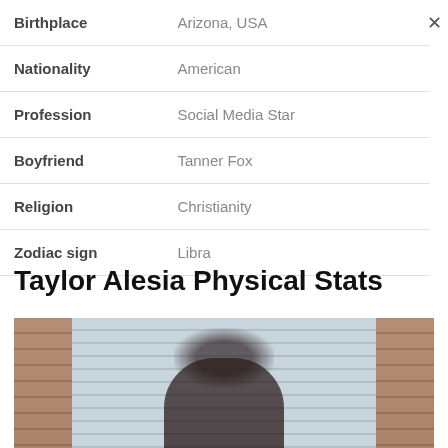| Field | Value |
| --- | --- |
| Birthplace | Arizona, USA |
| Nationality | American |
| Profession | Social Media Star |
| Boyfriend | Tanner Fox |
| Religion | Christianity |
| Zodiac sign | Libra |
Taylor Alesia Physical Stats
[Figure (photo): Photo of Taylor Alesia outdoors in front of a light blue shutter/garage door with brick columns on either side. Subject has dark hair and is wearing a dark top.]